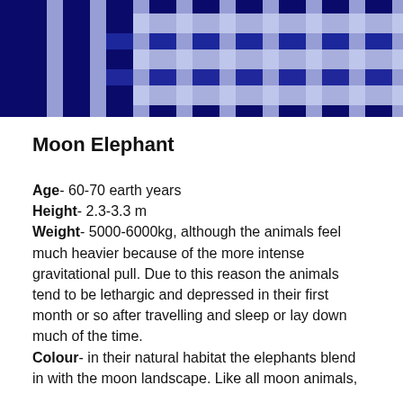[Figure (photo): A decorative banner image showing a white picket fence pattern against a dark blue background with grid-like structure.]
Moon Elephant
Age- 60-70 earth years
Height- 2.3-3.3 m
Weight- 5000-6000kg, although the animals feel much heavier because of the more intense gravitational pull. Due to this reason the animals tend to be lethargic and depressed in their first month or so after travelling and sleep or lay down much of the time.
Colour- in their natural habitat the elephants blend in with the moon landscape. Like all moon animals,